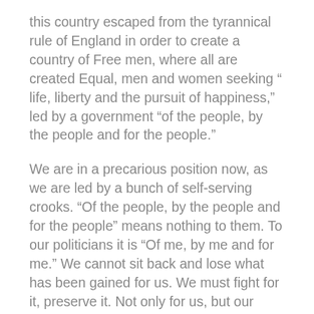this country escaped from the tyrannical rule of England in order to create a country of Free men, where all are created Equal, men and women seeking “ life, liberty and the pursuit of happiness,” led by a government “of the people, by the people and for the people.”
We are in a precarious position now, as we are led by a bunch of self-serving crooks. “Of the people, by the people and for the people” means nothing to them. To our politicians it is “Of me, by me and for me.” We cannot sit back and lose what has been gained for us. We must fight for it, preserve it. Not only for us, but our children, our grandchildren and those who will follow.
The United States is the envy of the world and she must remain so, for in the history of mankind only once have men had the freedom to choose, to do, to accomplish by their own efforts, to live as free men. It’s only been 236 years…let this not be squandered away by greedy